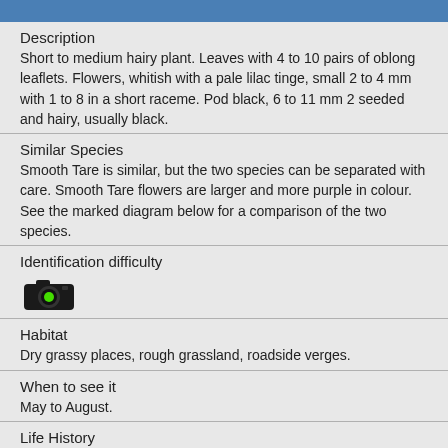Description
Short to medium hairy plant. Leaves with 4 to 10 pairs of oblong leaflets. Flowers, whitish with a pale lilac tinge, small 2 to 4 mm with 1 to 8 in a short raceme. Pod black, 6 to 11 mm 2 seeded and hairy, usually black.
Similar Species
Smooth Tare is similar, but the two species can be separated with care. Smooth Tare flowers are larger and more purple in colour. See the marked diagram below for a comparison of the two species.
Identification difficulty
[Figure (illustration): Camera icon with green circle indicator representing identification difficulty level]
Habitat
Dry grassy places, rough grassland, roadside verges.
When to see it
May to August.
Life History